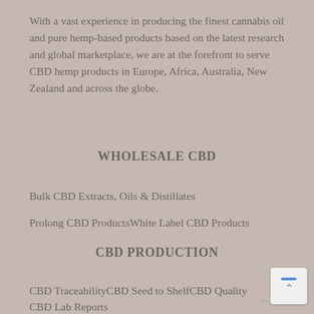With a vast experience in producing the finest cannabis oil and pure hemp-based products based on the latest research and global marketplace, we are at the forefront to serve CBD hemp products in Europe, Africa, Australia, New Zealand and across the globe.
WHOLESALE CBD
Bulk CBD Extracts, Oils & Distillates
Prolong CBD ProductsWhite Label CBD Products
CBD PRODUCTION
CBD TraceabilityCBD Seed to ShelfCBD Quality
CBD Lab Reports